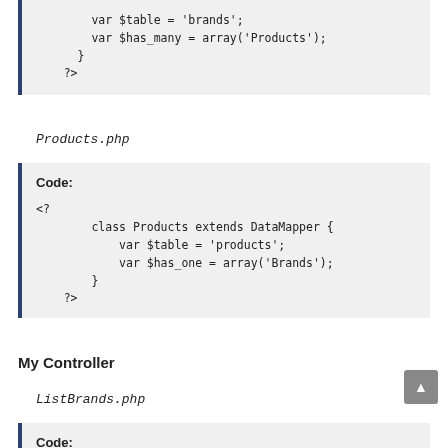[Figure (screenshot): Code block (top, partial) showing PHP code: var $table = 'brands'; var $has_many = array('Products'); } ?>]
Products.php
[Figure (screenshot): Code block showing PHP code: Code: <?  class Products extends DataMapper {    var $table = 'products';    var $has_one = array('Brands');  } ?>]
My Controller
ListBrands.php
[Figure (screenshot): Code block (partial, bottom cut off) starting with Code:]